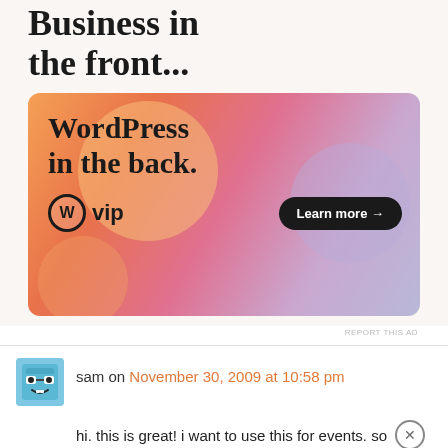[Figure (other): WordPress VIP advertisement banner. Top section on light beige background shows partial text 'Business in the front...' in large bold serif font. Below is an orange/pink/lavender gradient banner with text 'WordPress in the back.' and WordPress VIP logo with 'Learn more →' button.]
REPORT THIS AD
sam on November 30, 2009 at 10:58 pm
hi. this is great! i want to use this for events. so
Advertisements
[Figure (other): DuckDuckGo advertisement. Red background with white text 'Search, browse, and email with more privacy.' and white button 'All in One Free App'. Right side shows phone mockup with DuckDuckGo logo and 'DuckDuckGo.' text.]
REPORT THIS AD